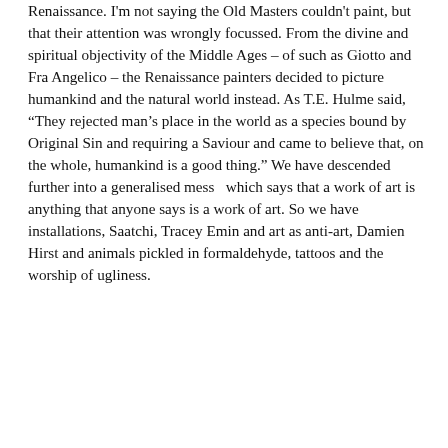Renaissance. I'm not saying the Old Masters couldn't paint, but that their attention was wrongly focussed. From the divine and spiritual objectivity of the Middle Ages – of such as Giotto and Fra Angelico – the Renaissance painters decided to picture humankind and the natural world instead. As T.E. Hulme said, “They rejected man’s place in the world as a species bound by Original Sin and requiring a Saviour and came to believe that, on the whole, humankind is a good thing.” We have descended further into a generalised mess  which says that a work of art is anything that anyone says is a work of art. So we have installations, Saatchi, Tracey Emin and art as anti-art, Damien Hirst and animals pickled in formaldehyde, tattoos and the worship of ugliness.